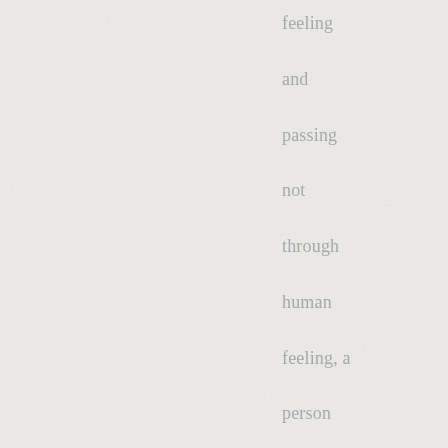feeling and passing not through human feeling, a person cannot be fulfilled. Also, without good friends, this would be difficult."